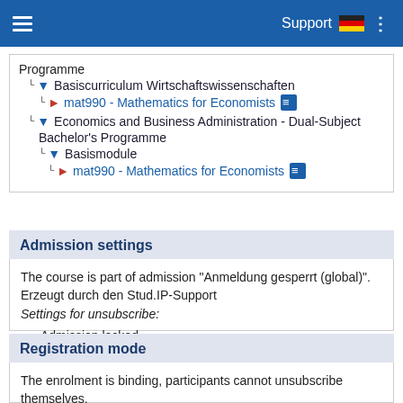Support
Programme
  └ ▾ Basiscurriculum Wirtschaftswissenschaften
      └ ▶ mat990 - Mathematics for Economists
  └ ▾ Economics and Business Administration - Dual-Subject Bachelor's Programme
      └ ▾ Basismodule
          └ ▶ mat990 - Mathematics for Economists
Admission settings
The course is part of admission "Anmeldung gesperrt (global)". Erzeugt durch den Stud.IP-Support
Settings for unsubscribe:
• Admission locked.
Registration mode
The enrolment is binding, participants cannot unsubscribe themselves.